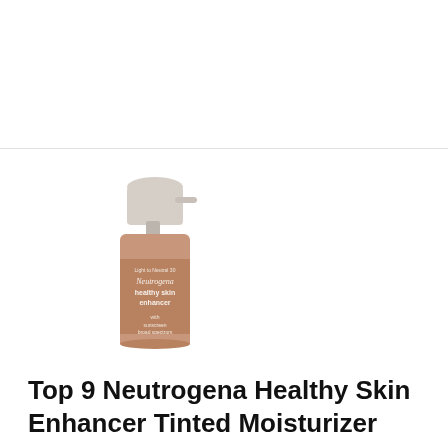[Figure (photo): Neutrogena Healthy Skin Enhancer bottle with pump dispenser, tan/beige color, label reads 'Light to Neutral 30, Neutrogena healthy skin enhancer, with sunscreen, broad spectrum']
Top 9 Neutrogena Healthy Skin Enhancer Tinted Moisturizer
Feelingblues   June 28, 2020